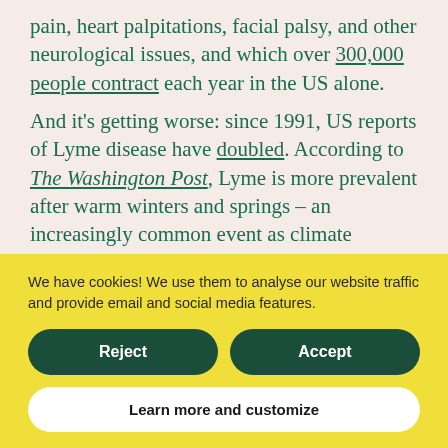pain, heart palpitations, facial palsy, and other neurological issues, and which over 300,000 people contract each year in the US alone.
And it's getting worse: since 1991, US reports of Lyme disease have doubled. According to The Washington Post, Lyme is more prevalent after warm winters and springs – an increasingly common event as climate
We have cookies! We use them to analyse our website traffic and provide email and social media features.
Reject
Accept
Learn more and customize